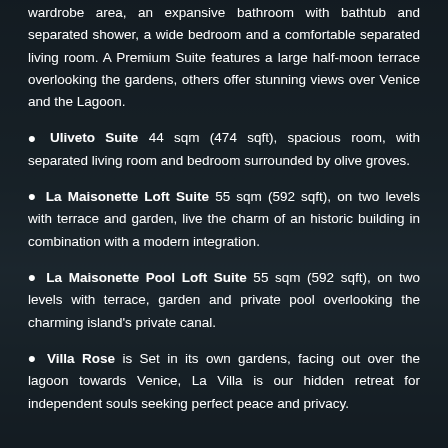wardrobe area, an expansive bathroom with bathtub and separated shower, a wide bedroom and a comfortable separated living room. A Premium Suite features a large half-moon terrace overlooking the gardens, others offer stunning views over Venice and the Lagoon.
Uliveto Suite 44 sqm (474 sqft), spacious room, with separated living room and bedroom surrounded by olive groves.
La Maisonette Loft Suite 55 sqm (592 sqft), on two levels with terrace and garden, live the charm of an historic building in combination with a modern integration.
La Maisonette Pool Loft Suite 55 sqm (592 sqft), on two levels with terrace, garden and private pool overlooking the charming island's private canal.
Villa Rose is Set in its own gardens, facing out over the lagoon towards Venice, La Villa is our hidden retreat for independent souls seeking perfect peace and privacy.